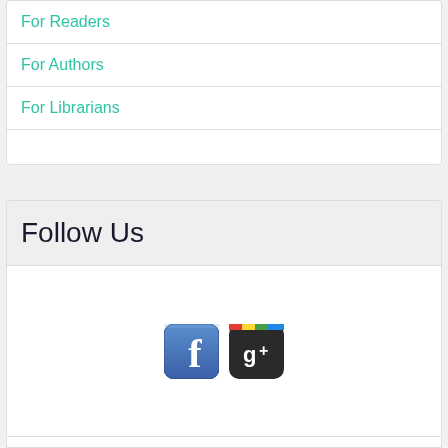For Readers
For Authors
For Librarians
Follow Us
[Figure (logo): Facebook and Google+ social media icons side by side]